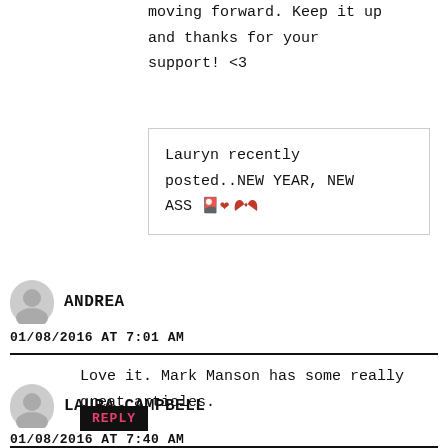moving forward. Keep it up and thanks for your support! <3
Lauryn recently posted..NEW YEAR, NEW ASS 🔴
ANDREA
01/08/2016 AT 7:01 AM
Love it. Mark Manson has some really great articles.
REPLY
LAURA CAMPBELL
01/08/2016 AT 7:40 AM